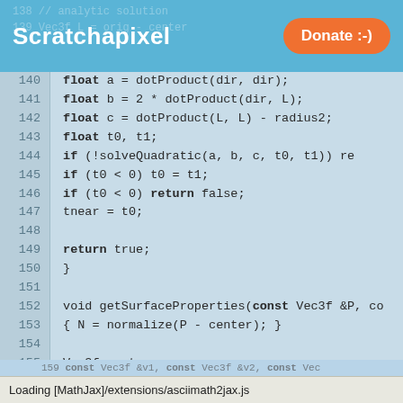Scratchapixel | Donate :-)
[Figure (screenshot): Code listing showing C++ ray-sphere intersection code, lines 140-158, with line numbers on left, code on right, on a blue-grey background. Scratchapixel header with orange Donate button at top.]
Loading [MathJax]/extensions/asciimath2jax.js